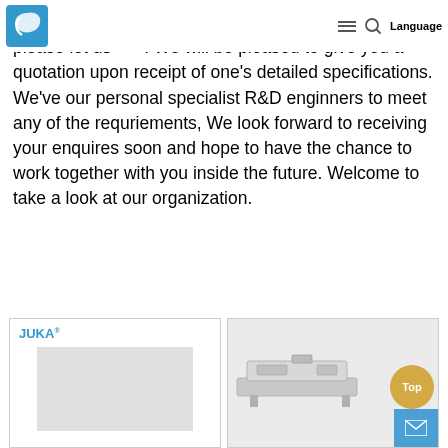[Logo] [hamburger menu] [search icon] Language
,Really should any of these items be of interest to you, please let us know. We will be pleased to give you a quotation upon receipt of one's detailed specifications. We've our personal specialist R&D enginners to meet any of the requriements, We look forward to receiving your enquires soon and hope to have the chance to work together with you inside the future. Welcome to take a look at our organization.
[Figure (photo): Product card on the left showing JUKA branded equipment with logo at top-left and a rectangular white/grey appliance body]
[Figure (photo): Product card on the right showing a metallic machine/tray-type industrial equipment, with a gold circular 'Top' button and a blue email/envelope button overlaid in the bottom-right corner]